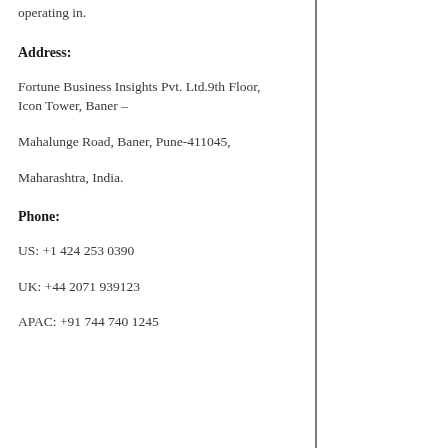operating in.
Address:
Fortune Business Insights Pvt. Ltd.9th Floor, Icon Tower, Baner –
Mahalunge Road, Baner, Pune-411045,
Maharashtra, India.
Phone:
US: +1 424 253 0390
UK: +44 2071 939123
APAC: +91 744 740 1245